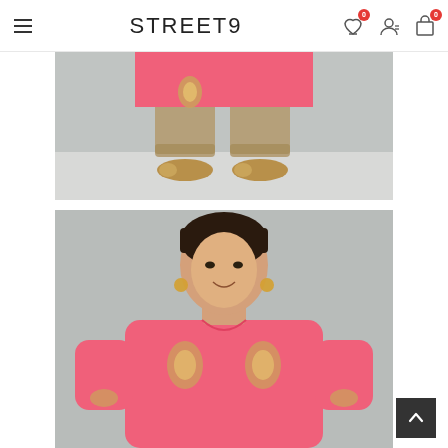STREET9 — navigation header with hamburger menu, logo, wishlist (0), account, and cart (0) icons
[Figure (photo): Lower body of a model wearing a pink kurti/top with gold embroidery motif and beige/khaki cropped pants with matching gold flat shoes, standing on a light grey backdrop]
[Figure (photo): Portrait/upper body of a young woman smiling, wearing a pink satin kurti with gold embroidery motifs on the chest and sleeves, with gold drop earrings, hair tied back, grey backdrop]